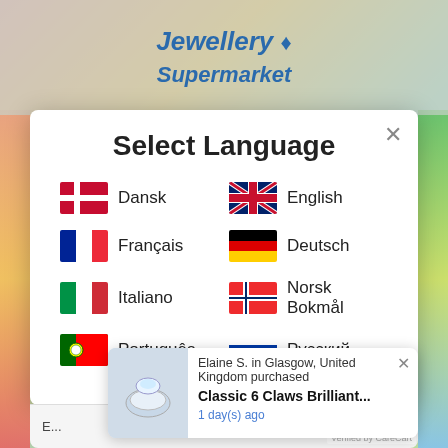[Figure (screenshot): Jewellery Supermarket website header with colorful background]
Select Language
Dansk
English
Français
Deutsch
Italiano
Norsk Bokmål
Português
Русский
Elaine S. in Glasgow, United Kingdom purchased
Classic 6 Claws Brilliant...
1 day(s) ago
Verified by CareCart